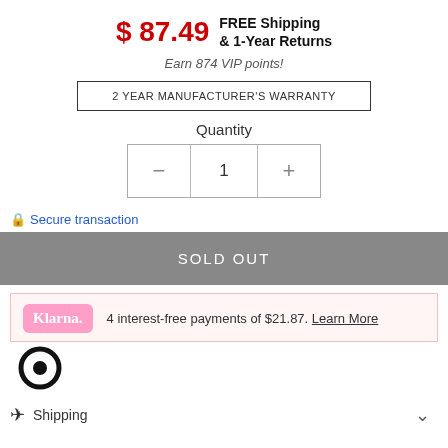$ 87.49  FREE Shipping & 1-Year Returns
Earn 874 VIP points!
2 YEAR MANUFACTURER'S WARRANTY
Quantity
[Figure (other): Quantity selector with minus, 1, and plus buttons in a bordered box]
Secure transaction
SOLD OUT
4 interest-free payments of $21.87. Learn More
Shipping